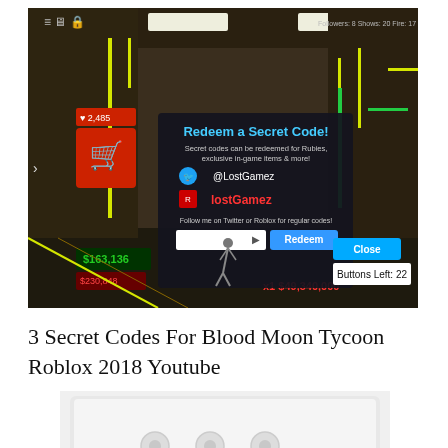[Figure (screenshot): Screenshot of a Roblox game (Blood Moon Tycoon) showing a 'Redeem a Secret Code!' dialog box. The dialog shows @LostGamez on Twitter and lostGamez on Roblox, with a text input field and a blue Redeem button. Also shows 'Buttons Left: 22', a Close button, and UI elements including a shopping cart, currency counters, and game environment with yellow/green neon accents.]
3 Secret Codes For Blood Moon Tycoon Roblox 2018 Youtube
[Figure (photo): Partially visible image of what appears to be a white/light-colored device or appliance with circular elements visible at the bottom of the page.]